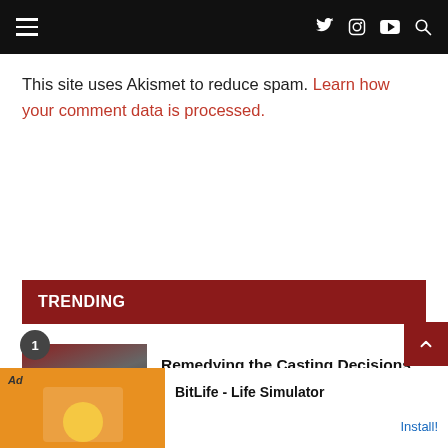Navigation header with hamburger menu and social icons (Twitter, Instagram, YouTube, Search)
This site uses Akismet to reduce spam. Learn how your comment data is processed.
TRENDING
Remedying the Casting Decisions of 'West Side Story'
[Figure (photo): Thumbnail image for West Side Story article showing cast on stage]
Ad BitLife - Life Simulator Install!